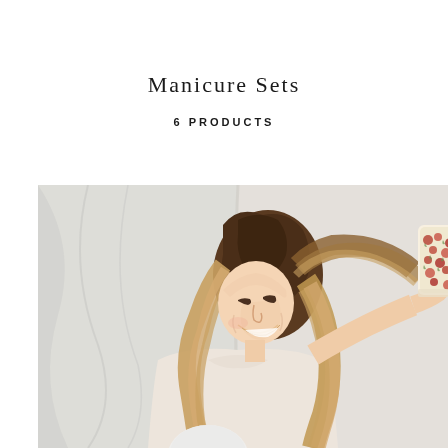Manicure Sets
6 PRODUCTS
[Figure (photo): A smiling woman with long blonde wavy hair holding a floral-patterned hairbrush up to her head. She is wearing a light cream/blush colored top. The background is a white/light grey draped fabric. The photo is taken against a bright, airy backdrop.]